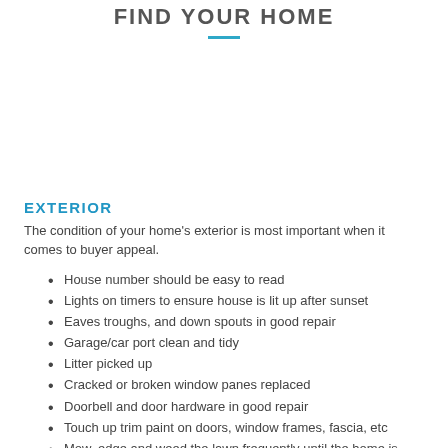Find Your Home
EXTERIOR
The condition of your home's exterior is most important when it comes to buyer appeal.
House number should be easy to read
Lights on timers to ensure house is lit up after sunset
Eaves troughs, and down spouts in good repair
Garage/car port clean and tidy
Litter picked up
Cracked or broken window panes replaced
Doorbell and door hardware in good repair
Touch up trim paint on doors, window frames, fascia, etc
Mow, edge and weed the lawn frequently until the home is